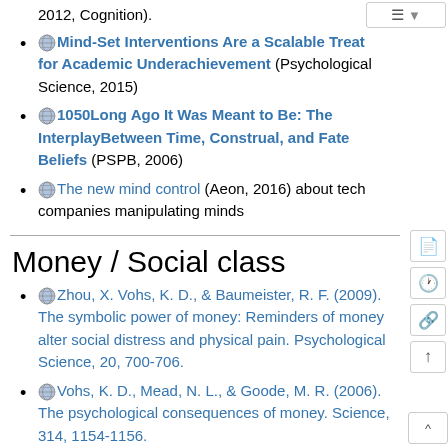2012, Cognition).
Mind-Set Interventions Are a Scalable Treatment for Academic Underachievement (Psychological Science, 2015)
1050Long Ago It Was Meant to Be: The InterplayBetween Time, Construal, and Fate Beliefs (PSPB, 2006)
The new mind control (Aeon, 2016) about tech companies manipulating minds
Money / Social class
Zhou, X. Vohs, K. D., & Baumeister, R. F. (2009). The symbolic power of money: Reminders of money alter social distress and physical pain. Psychological Science, 20, 700-706.
Vohs, K. D., Mead, N. L., & Goode, M. R. (2006). The psychological consequences of money. Science, 314, 1154-1156.
Money Priming - great little video by BBC
Michael W. Kraus, Stéphane Côté, and Dacher...